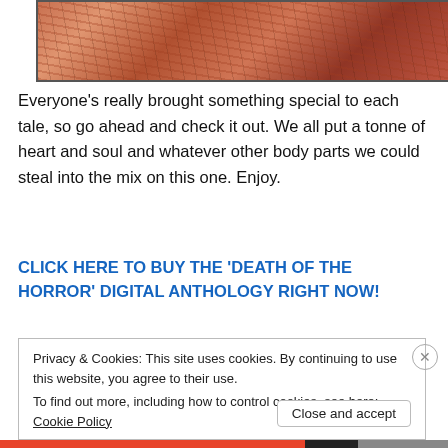[Figure (illustration): Comic book style illustration showing a character in reddish-brown rocky/desert tones, partial view cropped at top of page]
Everyone's really brought something special to each tale, so go ahead and check it out. We all put a tonne of heart and soul and whatever other body parts we could steal into the mix on this one. Enjoy.
CLICK HERE TO BUY THE 'DEATH OF THE HORROR' DIGITAL ANTHOLOGY RIGHT NOW!
Privacy & Cookies: This site uses cookies. By continuing to use this website, you agree to their use.
To find out more, including how to control cookies, see here: Cookie Policy
Close and accept